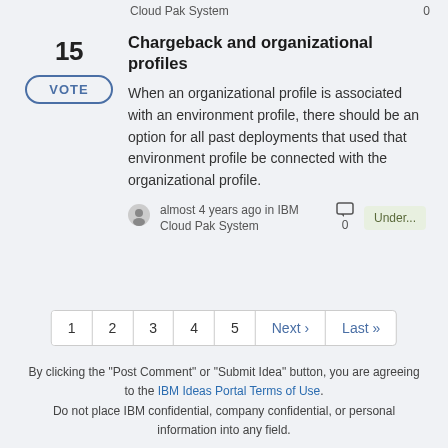Cloud Pak System   0
15   Chargeback and organizational profiles
When an organizational profile is associated with an environment profile, there should be an option for all past deployments that used that environment profile be connected with the organizational profile.
almost 4 years ago in IBM Cloud Pak System   0   Under...
1 2 3 4 5 Next › Last »
By clicking the "Post Comment" or "Submit Idea" button, you are agreeing to the IBM Ideas Portal Terms of Use. Do not place IBM confidential, company confidential, or personal information into any field.